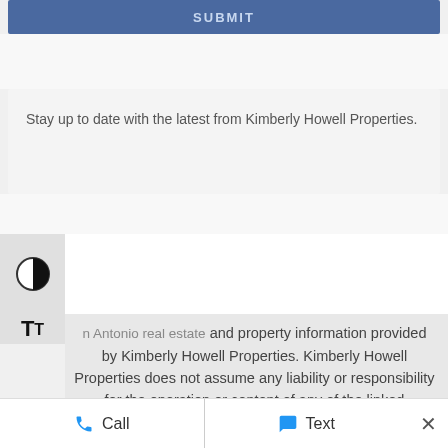[Figure (screenshot): Blue SUBMIT button bar at top of page]
Stay up to date with the latest from Kimberly Howell Properties.
[Figure (other): Contrast toggle icon (half-circle black/white)]
[Figure (other): Font size toggle icon (TT)]
n Antonio real estate and property information provided by Kimberly Howell Properties. Kimberly Howell Properties does not assume any liability or responsibility for the operation or content of any of the linked resources, nor for any of the interpretations, comments, graphics, or opinions
Call   Text   ×